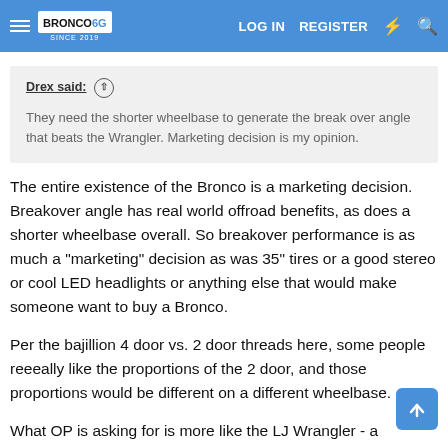Bronco6G.com — LOG IN  REGISTER
Drex said: ↑
They need the shorter wheelbase to generate the break over angle that beats the Wrangler. Marketing decision is my opinion.
The entire existence of the Bronco is a marketing decision. Breakover angle has real world offroad benefits, as does a shorter wheelbase overall. So breakover performance is as much a "marketing" decision as was 35" tires or a good stereo or cool LED headlights or anything else that would make someone want to buy a Bronco.
Per the bajillion 4 door vs. 2 door threads here, some people reeeally like the proportions of the 2 door, and those proportions would be different on a different wheelbase.
What OP is asking for is more like the LJ Wrangler - a